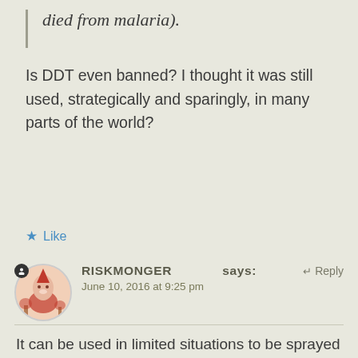died from malaria).
Is DDT even banned? I thought it was still used, strategically and sparingly, in many parts of the world?
★ Like
RISKMONGER says: June 10, 2016 at 9:25 pm ↵ Reply
It can be used in limited situations to be sprayed on walls in homes as a local preventative measure, but there are no widespread mosquito eradication programmes like in the